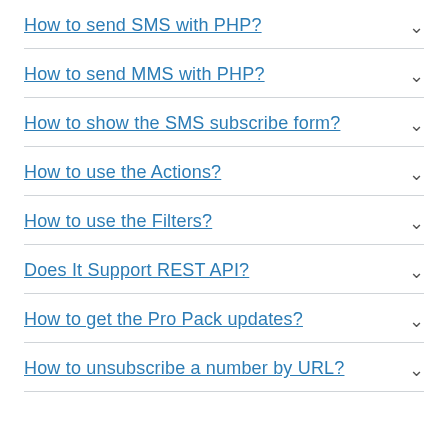How to send SMS with PHP?
How to send MMS with PHP?
How to show the SMS subscribe form?
How to use the Actions?
How to use the Filters?
Does It Support REST API?
How to get the Pro Pack updates?
How to unsubscribe a number by URL?